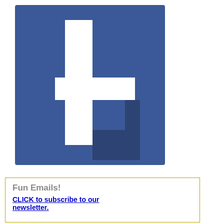[Figure (logo): Facebook logo (blue 'f' icon) partially visible, cropped]
Fun Emails!
CLICK to subscribe to our newsletter.
[Figure (screenshot): Right half of page showing a fitness/award website screenshot. Dark top bar with text 'TS307 15 Mile R...', red banner with italic text 'Fit...', gray background with laurel wreath graphic, text 'Sec... Pla...' and quote 'Zu...' partially visible. White box at bottom right.]